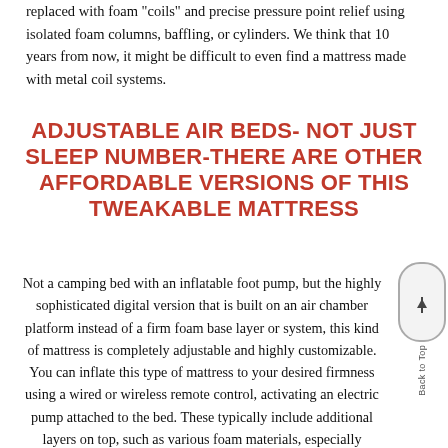replaced with foam "coils" and precise pressure point relief using isolated foam columns, baffling, or cylinders. We think that 10 years from now, it might be difficult to even find a mattress made with metal coil systems.
ADJUSTABLE AIR BEDS- NOT JUST SLEEP NUMBER-THERE ARE OTHER AFFORDABLE VERSIONS OF THIS TWEAKABLE MATTRESS
Not a camping bed with an inflatable foot pump, but the highly sophisticated digital version that is built on an air chamber platform instead of a firm foam base layer or system, this kind of mattress is completely adjustable and highly customizable. You can inflate this type of mattress to your desired firmness using a wired or wireless remote control, activating an electric pump attached to the bed. These typically include additional layers on top, such as various foam materials, especially memory foam and latex